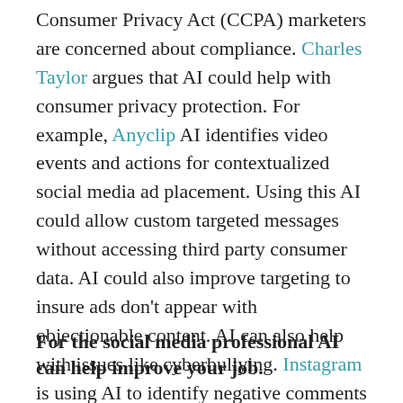Consumer Privacy Act (CCPA) marketers are concerned about compliance. Charles Taylor argues that AI could help with consumer privacy protection. For example, Anyclip AI identifies video events and actions for contextualized social media ad placement. Using this AI could allow custom targeted messages without accessing third party consumer data. AI could also improve targeting to insure ads don't appear with objectionable content. AI can also help with issues like cyberbullying. Instagram is using AI to identify negative comments before they're published asking users, "Are you sure you want to post this?"
For the social media professional AI can help improve your job.